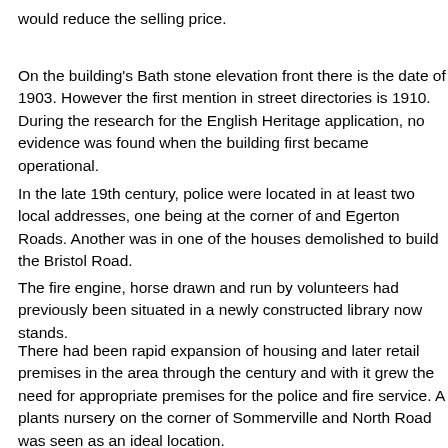would reduce the selling price.
On the building's Bath stone elevation front there is the date of 1903. However the first mention in street directories is 1910. During the research for the English Heritage application, no evidence was found when the building first became operational.
In the late 19th century, police were located in at least two local addresses, one being at the corner of and Egerton Roads. Another was in one of the houses demolished to build the Bristol Road.
The fire engine, horse drawn and run by volunteers had previously been situated in a newly constructed library now stands.
There had been rapid expansion of housing and later retail premises in the area through the century and with it grew the need for appropriate premises for the police and fire service. A plants nursery on the corner of Sommerville and North Road was seen as an ideal location.
No plans or construction details have been found but it is reasonably straight forward about 80% intact. Number 8 was the police station that had a set of offices and almost floor. There was access upstairs from the front door in Sommerville road which appeared the ground floor on the right which consisted of two rooms, the larger having a way of into the rear yard, presumably from where prisoners could be transported to court or